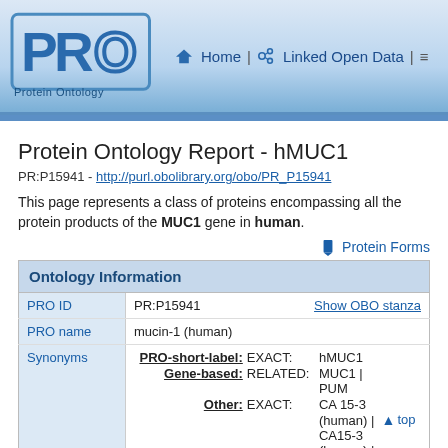[Figure (logo): PRO Protein Ontology logo with navigation links: Home | Linked Open Data |]
Protein Ontology Report - hMUC1
PR:P15941 - http://purl.obolibrary.org/obo/PR_P15941
This page represents a class of proteins encompassing all the protein products of the MUC1 gene in human.
Protein Forms
|  | Ontology Information |  |
| --- | --- | --- |
| PRO ID | PR:P15941 | Show OBO stanza |
| PRO name | mucin-1 (human) |  |
| Synonyms | PRO-short-label: EXACT: hMUC1
Gene-based: RELATED: MUC1 | PUM
Other: EXACT: CA 15-3 (human) | CA15-3 (human) | |  |